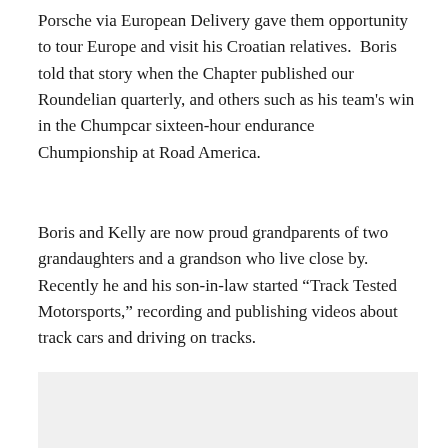Porsche via European Delivery gave them opportunity to tour Europe and visit his Croatian relatives.  Boris told that story when the Chapter published our Roundelian quarterly, and others such as his team's win in the Chumpcar sixteen-hour endurance Chumpionship at Road America.
Boris and Kelly are now proud grandparents of two grandaughters and a grandson who live close by. Recently he and his son-in-law started “Track Tested Motorsports,” recording and publishing videos about track cars and driving on tracks.
[Figure (photo): A light gray rectangular image placeholder at the bottom of the page.]